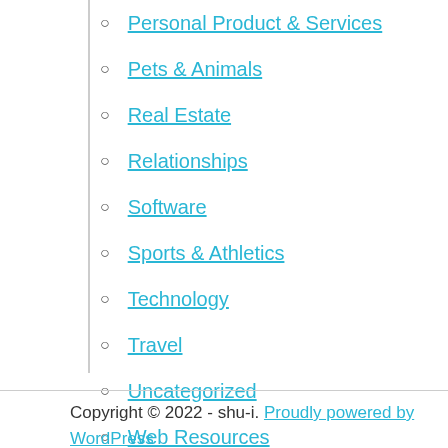Personal Product & Services
Pets & Animals
Real Estate
Relationships
Software
Sports & Athletics
Technology
Travel
Uncategorized
Web Resources
Copyright © 2022 - shu-i. Proudly powered by WordPress